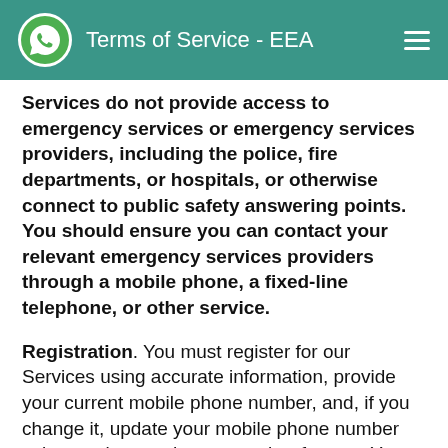Terms of Service - EEA
Services do not provide access to emergency services or emergency services providers, including the police, fire departments, or hospitals, or otherwise connect to public safety answering points. You should ensure you can contact your relevant emergency services providers through a mobile phone, a fixed-line telephone, or other service.
Registration. You must register for our Services using accurate information, provide your current mobile phone number, and, if you change it, update your mobile phone number using our in-app change number feature. You agree to receive text messages and phone calls (from us or our third-party providers) with